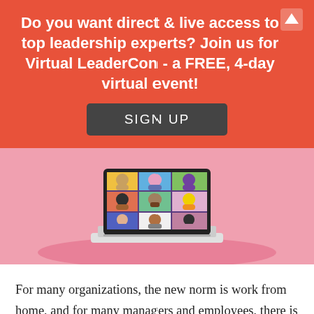Do you want direct & live access to top leadership experts? Join us for Virtual LeaderCon - a FREE, 4-day virtual event!
SIGN UP
[Figure (illustration): Illustration of a laptop displaying a grid of cartoon people on a video call, on a pink background]
For many organizations, the new norm is work from home, and for many managers and employees, there is a great deal of uncertainty about if and when they will return to an office or on-site location. If you are one of them, your transition back to the office may be completely out of your hands, but one very